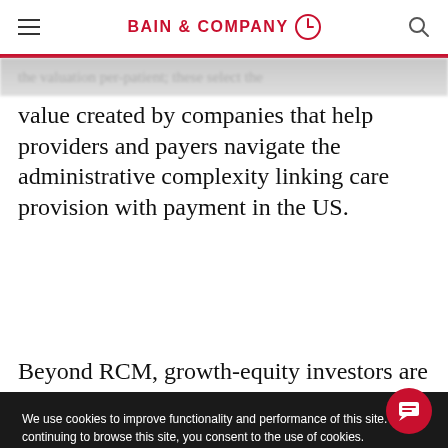BAIN & COMPANY
value created by companies that help providers and payers navigate the administrative complexity linking care provision with payment in the US.
Beyond RCM, growth-equity investors are fueling development of AI tools that raise
We use cookies to improve functionality and performance of this site. By continuing to browse this site, you consent to the use of cookies.
ACCEPT ALL COOKIES